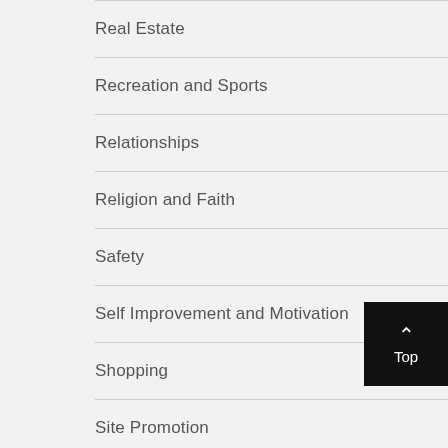Real Estate
Recreation and Sports
Relationships
Religion and Faith
Safety
Self Improvement and Motivation
Shopping
Site Promotion
Social Media
Travel and Leisure
Web Design and Development